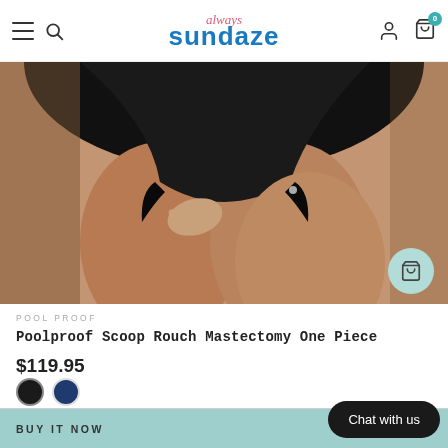always sundaze — navigation header with hamburger, search, logo, user, cart icons
[Figure (photo): Close-up product photo of a woman wearing a black one-piece swimsuit, showing torso and legs from hips down against a white background]
POOL PROOF
Poolproof Scoop Rouch Mastectomy One Piece
$119.95
[Figure (illustration): Two color swatches: black circle and navy blue circle]
ADD TO CART
BUY IT NOW
Chat with us